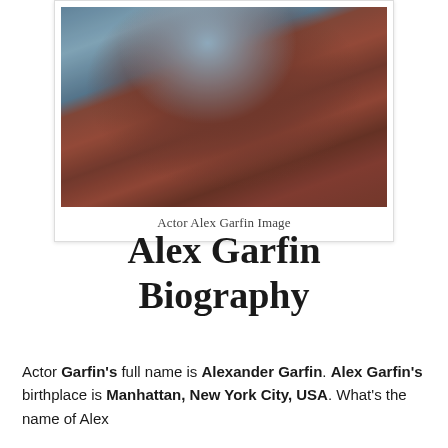[Figure (photo): Photo of actor Alex Garfin, shown from behind/side angle wearing a reddish-brown jacket and grey hoodie]
Actor Alex Garfin Image
Alex Garfin Biography
Actor Garfin's full name is Alexander Garfin. Alex Garfin's birthplace is Manhattan, New York City, USA. What's the name of Alex